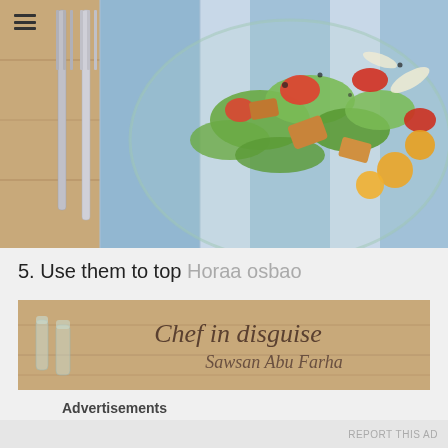[Figure (photo): A colorful salad in a glass bowl with tomatoes, greens, croutons, and yellow cherry tomatoes, placed on a blue and white checkered cloth with two silver forks on the left side on a wooden surface.]
5. Use them to top Horaa osbao
[Figure (photo): Wooden surface with small glass bottles and text reading 'Chef in disguise' and 'Sawsan Abu Farha' in cursive script. A close button (X) overlays the bottom-right corner.]
Advertisements